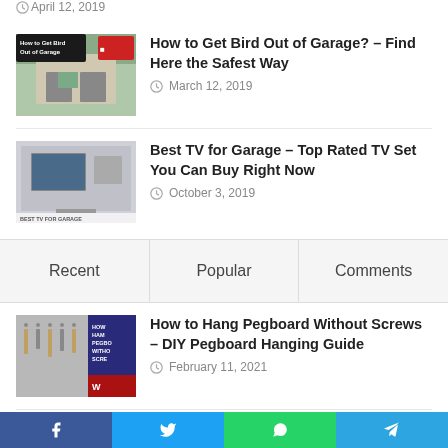April 12, 2019
[Figure (photo): House with garage – How to Get Bird Out of Garage thumbnail]
How to Get Bird Out of Garage? – Find Here the Safest Way
March 12, 2019
[Figure (photo): Garage interior with TV – Best TV for Garage thumbnail]
Best TV for Garage – Top Rated TV Set You Can Buy Right Now
October 3, 2019
| Recent | Popular | Comments |
| --- | --- | --- |
[Figure (photo): Pegboard with tools thumbnail – How to Hang Pegboard Without Screws]
How to Hang Pegboard Without Screws – DIY Pegboard Hanging Guide
February 11, 2021
[Figure (photo): How to Adjust Garage Door Chain thumbnail]
How to adjust a garage door chain –